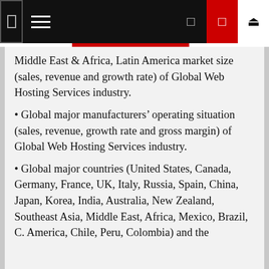Navigation bar
Middle East & Africa, Latin America market size (sales, revenue and growth rate) of Global Web Hosting Services industry.
• Global major manufacturers' operating situation (sales, revenue, growth rate and gross margin) of Global Web Hosting Services industry.
• Global major countries (United States, Canada, Germany, France, UK, Italy, Russia, Spain, China, Japan, Korea, India, Australia, New Zealand, Southeast Asia, Middle East, Africa, Mexico, Brazil, C. America, Chile, Peru, Colombia) and the